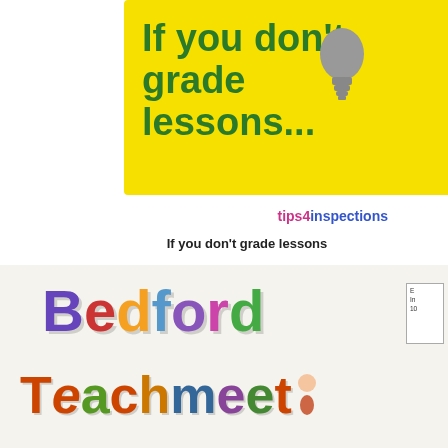[Figure (illustration): Yellow banner with bold green text reading 'If you don't grade lessons...' and a grey lightbulb icon in the top right corner]
tips4inspections
If you don't grade lessons
[Figure (illustration): Colourful cartoon-style text reading 'BEDFORD TEACHMEET' with each letter in different bright colours on a light background, with a small sign in the corner]